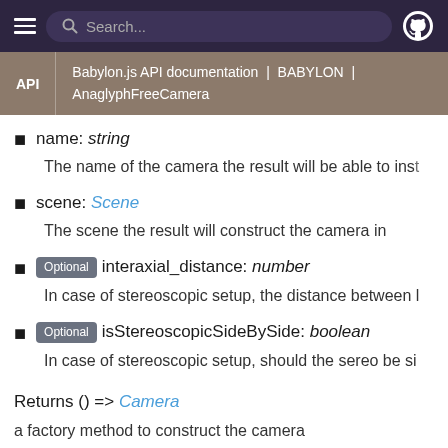Search...
API | Babylon.js API documentation | BABYLON | AnaglyphFreeCamera
name: string
The name of the camera the result will be able to inst
scene: Scene
The scene the result will construct the camera in
Optional interaxial_distance: number
In case of stereoscopic setup, the distance between l
Optional isStereoscopicSideBySide: boolean
In case of stereoscopic setup, should the sereo be si
Returns () => Camera
a factory method to construct the camera